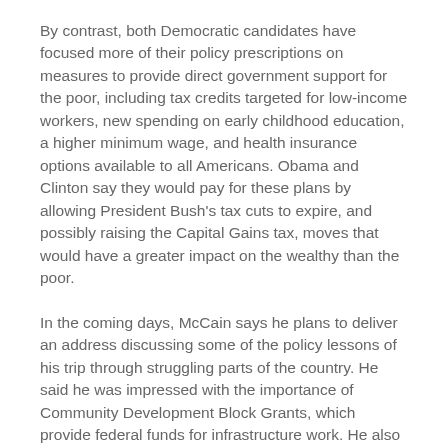By contrast, both Democratic candidates have focused more of their policy prescriptions on measures to provide direct government support for the poor, including tax credits targeted for low-income workers, new spending on early childhood education, a higher minimum wage, and health insurance options available to all Americans. Obama and Clinton say they would pay for these plans by allowing President Bush's tax cuts to expire, and possibly raising the Capital Gains tax, moves that would have a greater impact on the wealthy than the poor.
In the coming days, McCain says he plans to deliver an address discussing some of the policy lessons of his trip through struggling parts of the country. He said he was impressed with the importance of Community Development Block Grants, which provide federal funds for infrastructure work. He also said he had seen the importance of allowing local communities to play